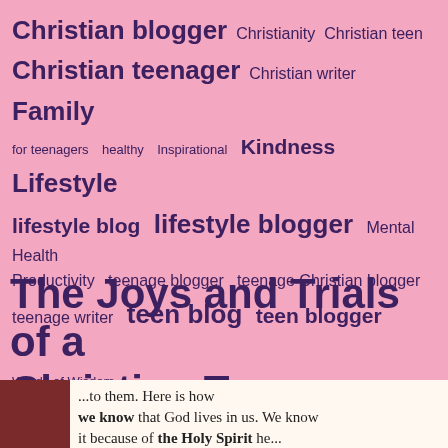[Figure (infographic): Tag cloud with blog-related keywords in varying sizes on a pink background. Tags include: Christian blogger, Christianity, Christian teen, Christian teenager, Christian writer, Family, for teenagers, healthy, Inspirational, Kindness, Lifestyle, lifestyle blog, lifestyle blogger, Mental Health, Productivity, teenage blogger, teenage Christian blogger, teenage writer, teen blog, teen blogger.]
The Joys and Trials of a Christian Teen
Words of Wisdom
♛ The Joys and Trials of a Christian Teen ♛
[Figure (photo): Partial image at bottom showing text: '...to them. Here is how we know that God lives in us. We know it because of the Holy Spirit he...' alongside a dark reddish book/image on the left.]